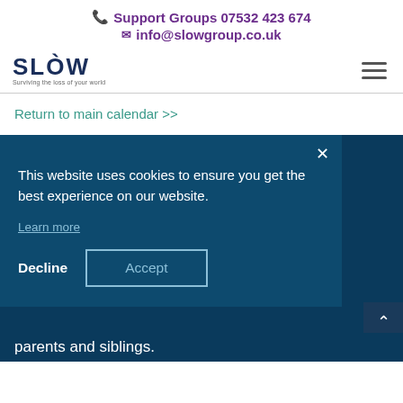Support Groups 07532 423 674
info@slowgroup.co.uk
[Figure (logo): SLOW logo with tagline 'Surviving the loss of your world']
Return to main calendar >>
This website uses cookies to ensure you get the best experience on our website.
Learn more
parents and siblings.